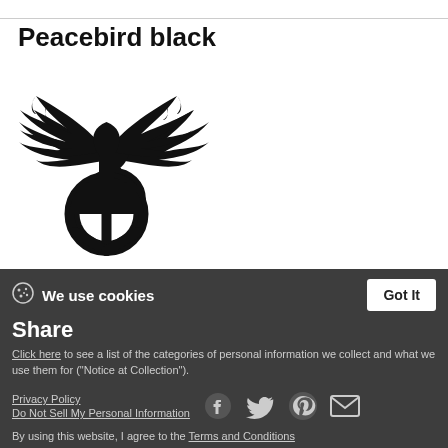Peacebird black
[Figure (logo): Black silhouette of a bird with wings spread upward, body forming a peace sign symbol — the 'Peacebird black' logo.]
Tags
black jack  black metal  black
We use cookies
Click here to see a list of the categories of personal information we collect and what we use them for ("Notice at Collection").
Share
Privacy Policy
Do Not Sell My Personal Information
By using this website, I agree to the Terms and Conditions